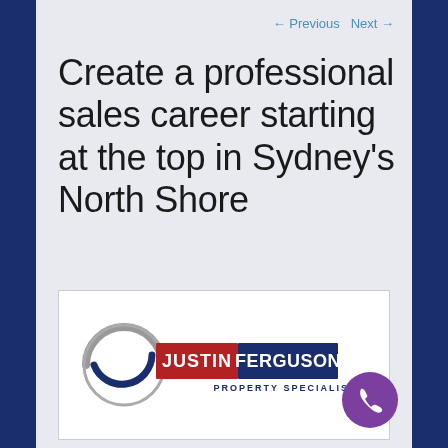← Previous  Next →
Create a professional sales career starting at the top in Sydney's North Shore
[Figure (logo): Justin Ferguson Property Specialists logo — circular swirl graphic in grey and dark blue on left, 'JUSTIN' in white on red background, 'FERGUSON' in white on dark blue background, 'PROPERTY SPECIALISTS' in dark blue text below]
[Figure (other): Purple circular phone/call button icon in bottom right corner]